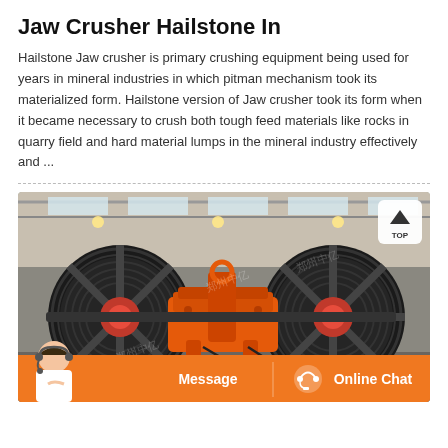Jaw Crusher Hailstone In
Hailstone Jaw crusher is primary crushing equipment being used for years in mineral industries in which pitman mechanism took its materialized form. Hailstone version of Jaw crusher took its form when it became necessary to crush both tough feed materials like rocks in quarry field and hard material lumps in the mineral industry effectively and ...
[Figure (photo): Photo of a jaw crusher machine with large black flywheels and orange painted central mechanism/body, shown in an industrial factory/warehouse setting. A 'TOP' button overlay is visible in the top-right corner. An orange bar at the bottom contains 'Message' and 'Online Chat' buttons with a customer service representative icon.]